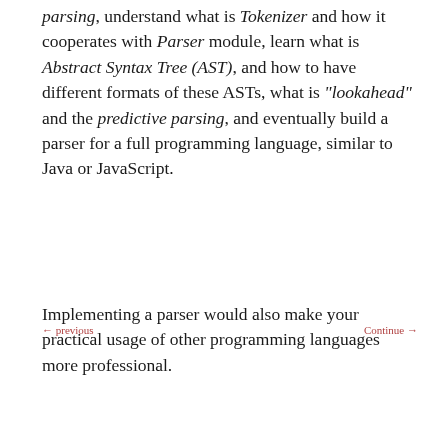parsing, understand what is Tokenizer and how it cooperates with Parser module, learn what is Abstract Syntax Tree (AST), and how to have different formats of these ASTs, what is "lookahead" and the predictive parsing, and eventually build a parser for a full programming language, similar to Java or JavaScript.
Implementing a parser would also make your practical usage of other programming languages more professional.
← previous    Continue →